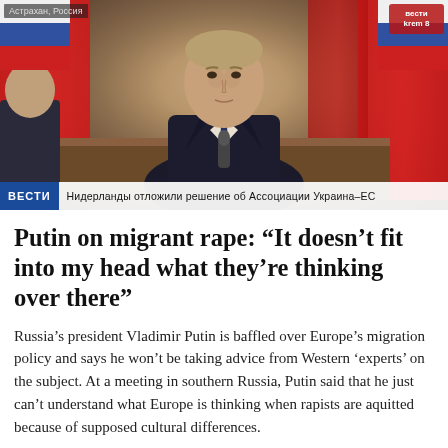[Figure (photo): A man in a dark suit and striped tie sits at a table in front of red flags, appearing to speak. A news ticker at the bottom shows 'ВЕСТИ' logo and Russian text: 'Нидерланды отложили решение об Ассоциации Украина-ЕС'. Top left shows partial text 'Астрахан, Россия'.]
Putin on migrant rape: “It doesn’t fit into my head what they’re thinking over there”
Russia’s president Vladimir Putin is baffled over Europe’s migration policy and says he won’t be taking advice from Western ‘experts’ on the subject. At a meeting in southern Russia, Putin said that he just can’t understand what Europe is thinking when rapists are aquitted because of supposed cultural differences.